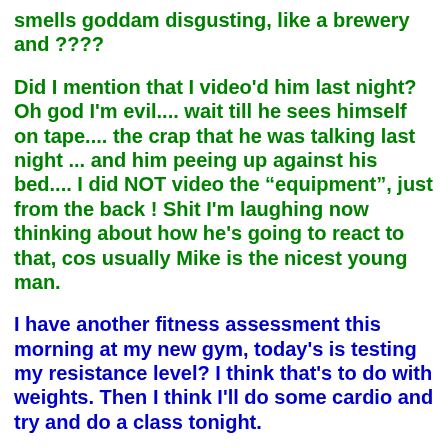smells goddam disgusting, like a brewery and ????
Did I mention that I video'd him last night? Oh god I'm evil.... wait till he sees himself on tape.... the crap that he was talking last night ... and him peeing up against his bed.... I did NOT video the "equipment", just from the back ! Shit I'm laughing now thinking about how he's going to react to that, cos usually Mike is the nicest young man.
I have another fitness assessment this morning at my new gym, today's is testing my resistance level? I think that's to do with weights. Then I think I'll do some cardio and try and do a class tonight.